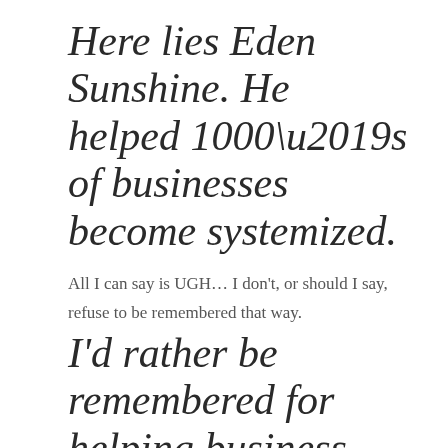Here lies Eden Sunshine. He helped 1000’s of businesses become systemized.
All I can say is UGH… I don’t, or should I say, refuse to be remembered that way.
I’d rather be remembered for helping business owners and their